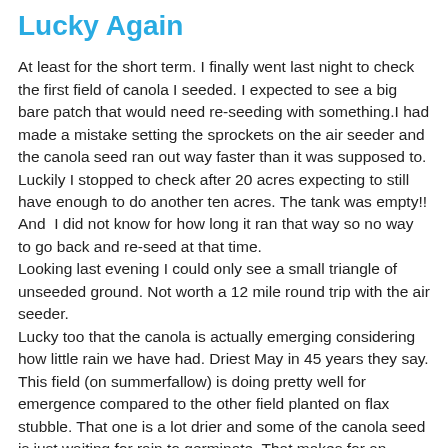Lucky Again
At least for the short term. I finally went last night to check the first field of canola I seeded. I expected to see a big bare patch that would need re-seeding with something.I had made a mistake setting the sprockets on the air seeder and the canola seed ran out way faster than it was supposed to. Luckily I stopped to check after 20 acres expecting to still have enough to do another ten acres. The tank was empty!! And  I did not know for how long it ran that way so no way to go back and re-seed at that time.
Looking last evening I could only see a small triangle of unseeded ground. Not worth a 12 mile round trip with the air seeder.
Lucky too that the canola is actually emerging considering how little rain we have had. Driest May in 45 years they say. This field (on summerfallow) is doing pretty well for emergence compared to the other field planted on flax stubble. That one is a lot drier and some of the canola seed is just waiting for rain to germinate. That makes for an uneven crop.
In knowing this I now see the canopy on the canola and